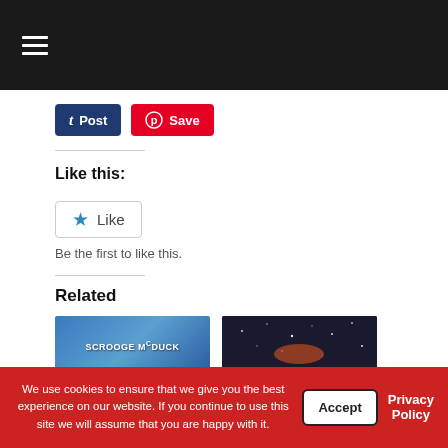Navigation menu (hamburger icon)
[Figure (screenshot): Two social sharing buttons: a dark blue 'Post' button with Tumblr logo and a red 'Save' button with Pinterest logo]
Like this:
[Figure (screenshot): WordPress-style Like button widget with star icon and 'Like' text in a bordered box, followed by 'Be the first to like this.' text]
Related
[Figure (screenshot): Related post thumbnails: 'SCROOGE McDUCK' blue card image and a dark space/night sky image]
We use cookies to ensure that we give you the best experience on our website. If you continue to use this site we will assume that you are happy with it.
Accept
Privacy Policy